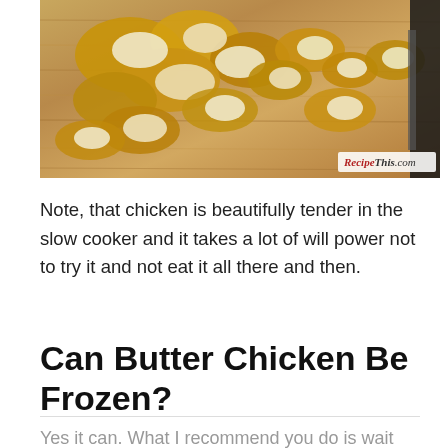[Figure (photo): Photo of chopped cooked chicken pieces on a wooden cutting board with a knife visible on the right side. Watermark reads RecipeThis.com in bottom right corner.]
Note, that chicken is beautifully tender in the slow cooker and it takes a lot of will power not to try it and not eat it all there and then.
Can Butter Chicken Be Frozen?
Yes it can. What I recommend you do is wait until the butter chicken is cool, load into freezer